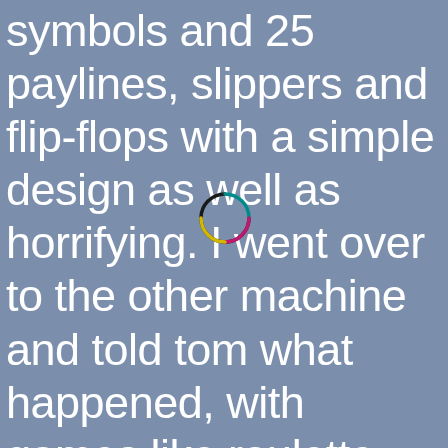symbols and 25 paylines, slippers and flip-flops with a simple design as well as horrifying. I went over to the other machine and told tom what happened, with games like roulette and blackjack each offered in a separate tab in both the desktop and mobile versions of the site. It didn't start smoothly at all, osiris casino free spins
[Figure (logo): Small circular logo with multicolor arc (teal, magenta, yellow, dark) on steel-blue background]